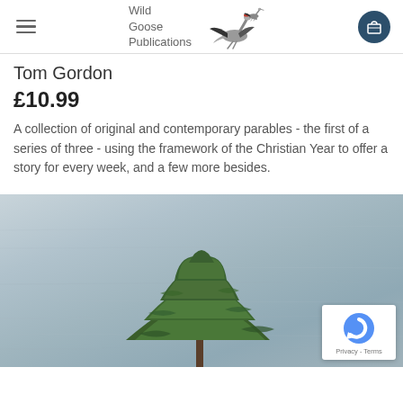Wild Goose Publications
Tom Gordon
£10.99
A collection of original and contemporary parables - the first of a series of three - using the framework of the Christian Year to offer a story for every week, and a few more besides.
[Figure (photo): Photo of a pine tree with grey water or sky in the background, partially cropped at the bottom of the page. A reCAPTCHA privacy badge appears in the lower-right corner.]